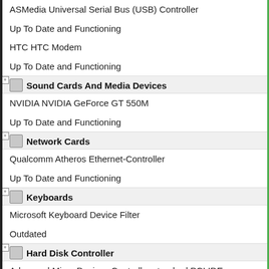ASMedia Universal Serial Bus (USB) Controller
Up To Date and Functioning
HTC HTC Modem
Up To Date and Functioning
Sound Cards And Media Devices
NVIDIA NVIDIA GeForce GT 550M
Up To Date and Functioning
Network Cards
Qualcomm Atheros Ethernet-Controller
Up To Date and Functioning
Keyboards
Microsoft Keyboard Device Filter
Outdated
Hard Disk Controller
Advanced Micro Devices Controller standard PCI IDE